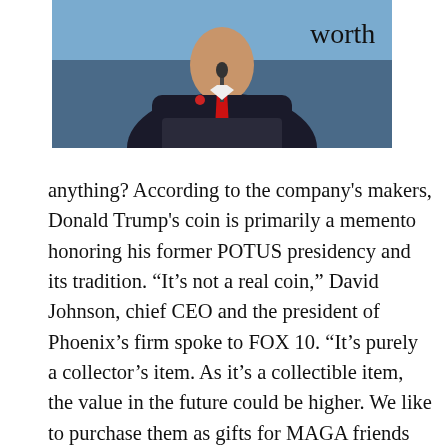[Figure (photo): A man in a dark suit with a red tie standing at a podium with a microphone, blue background.]
worth
anything? According to the company's makers, Donald Trump's coin is primarily a memento honoring his former POTUS presidency and its tradition. “It’s not a real coin,” David Johnson, chief CEO and the president of Phoenix’s firm spoke to FOX 10. “It’s purely a collector’s item. As it’s a collectible item, the value in the future could be higher. We like to purchase them as gifts for MAGA friends and family and older school Republicans (Not Rhinos!) haha